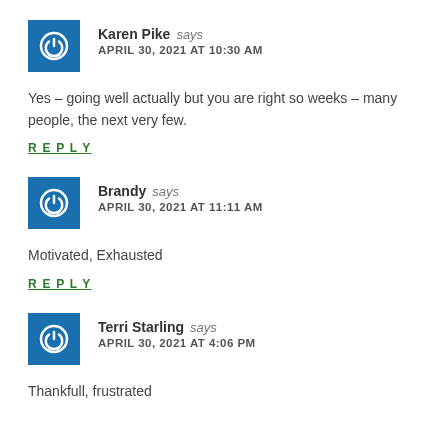Karen Pike says
APRIL 30, 2021 AT 10:30 AM
Yes – going well actually but you are right so weeks – many people, the next very few.
REPLY
Brandy says
APRIL 30, 2021 AT 11:11 AM
Motivated, Exhausted
REPLY
Terri Starling says
APRIL 30, 2021 AT 4:06 PM
Thankfull, frustrated